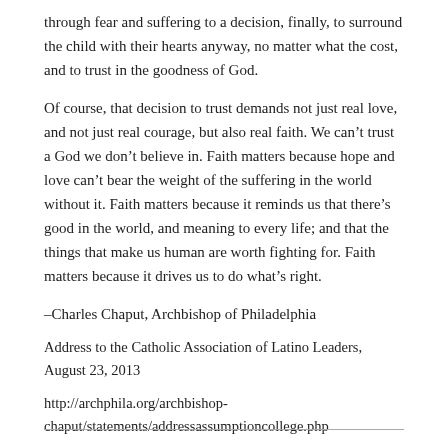through fear and suffering to a decision, finally, to surround the child with their hearts anyway, no matter what the cost, and to trust in the goodness of God.
Of course, that decision to trust demands not just real love, and not just real courage, but also real faith. We can’t trust a God we don’t believe in. Faith matters because hope and love can’t bear the weight of the suffering in the world without it. Faith matters because it reminds us that there’s good in the world, and meaning to every life; and that the things that make us human are worth fighting for. Faith matters because it drives us to do what’s right.
–Charles Chaput, Archbishop of Philadelphia
Address to the Catholic Association of Latino Leaders, August 23, 2013
http://archphila.org/archbishop-chaput/statements/addressassumptioncollege.php